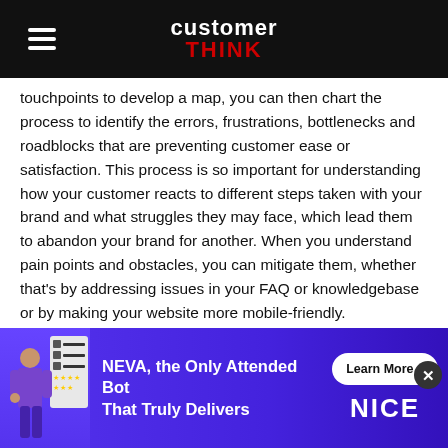customer THINK
touchpoints to develop a map, you can then chart the process to identify the errors, frustrations, bottlenecks and roadblocks that are preventing customer ease or satisfaction. This process is so important for understanding how your customer reacts to different steps taken with your brand and what struggles they may face, which lead them to abandon your brand for another. When you understand pain points and obstacles, you can mitigate them, whether that's by addressing issues in your FAQ or knowledgebase or by making your website more mobile-friendly.
It is important to note that this process is not just about identifying where a customer struggles, finding those ha... ho... th...
[Figure (infographic): Advertisement banner for NICE NEVA product: 'NEVA, the Only Attended Bot That Truly Delivers' with Learn More button and NICE logo, purple/blue gradient background with animated character]